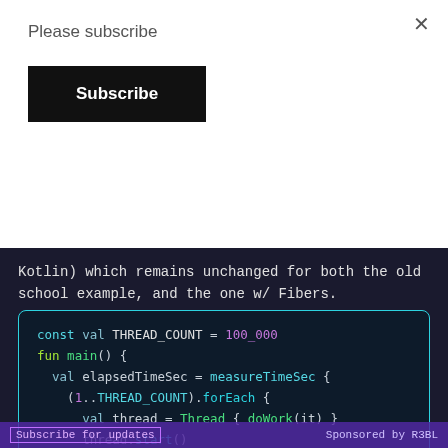Please subscribe
Subscribe
Kotlin) which remains unchanged for both the old school example, and the one w/ Fibers.
[Figure (screenshot): Kotlin code block showing const val THREAD_COUNT = 100_000 and fun main() with val elapsedTimeSec = measureTimeSec block, forEach loop creating Thread, calling thread.start() and thread.join()]
Subscribe for updates    Sponsored by R3BL